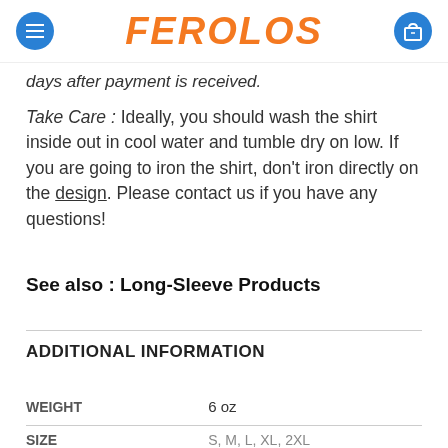FEROLOS
days after payment is received.
Take Care : Ideally, you should wash the shirt inside out in cool water and tumble dry on low. If you are going to iron the shirt, don't iron directly on the design. Please contact us if you have any questions!
See also : Long-Sleeve Products
ADDITIONAL INFORMATION
|  |  |
| --- | --- |
| WEIGHT | 6 oz |
| SIZE | S, M, L, XL, 2XL |